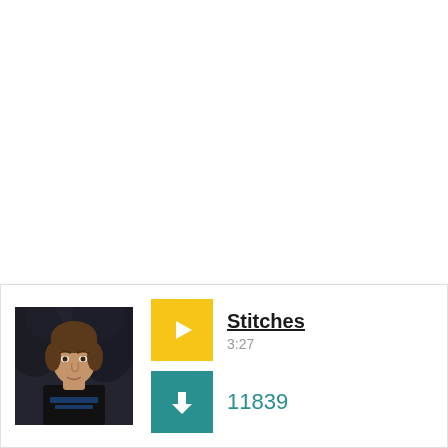[Figure (photo): Album art for Shawn Mendes showing a young man in a black shirt against a dark textured background, with 'SHAWN MENDES' text visible on the shirt]
Stitches
3:27
11839